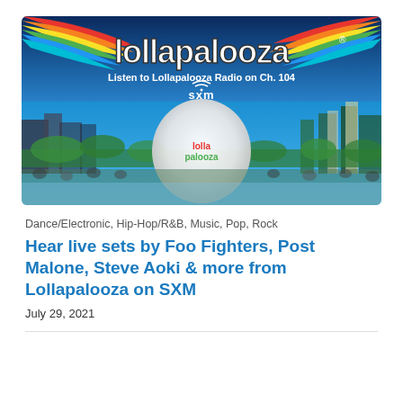[Figure (photo): Lollapalooza promotional banner image showing the Lollapalooza logo with rainbow stripes on a blue background, text 'Listen to Lollapalooza Radio on Ch. 104' and SXM logo, with a photo of a large white Lollapalooza balloon over a festival crowd with Chicago skyline in the background.]
Dance/Electronic, Hip-Hop/R&B, Music, Pop, Rock
Hear live sets by Foo Fighters, Post Malone, Steve Aoki & more from Lollapalooza on SXM
July 29, 2021